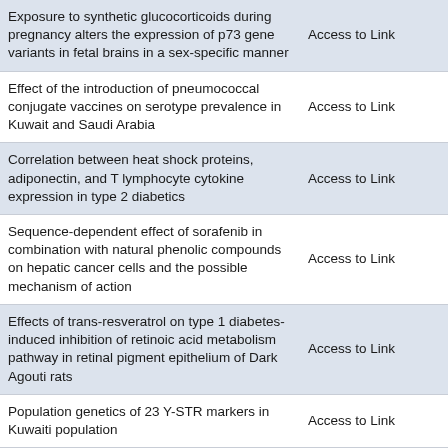| Title | Link |
| --- | --- |
| Exposure to synthetic glucocorticoids during pregnancy alters the expression of p73 gene variants in fetal brains in a sex-specific manner | Access to Link |
| Effect of the introduction of pneumococcal conjugate vaccines on serotype prevalence in Kuwait and Saudi Arabia | Access to Link |
| Correlation between heat shock proteins, adiponectin, and T lymphocyte cytokine expression in type 2 diabetics | Access to Link |
| Sequence-dependent effect of sorafenib in combination with natural phenolic compounds on hepatic cancer cells and the possible mechanism of action | Access to Link |
| Effects of trans-resveratrol on type 1 diabetes-induced inhibition of retinoic acid metabolism pathway in retinal pigment epithelium of Dark Agouti rats | Access to Link |
| Population genetics of 23 Y-STR markers in Kuwaiti population | Access to Link |
| The abundant occurrence of hydrocarbon-utilizing bacteria in the phyllospheres of cultivated and wild plants in Kuwait | Access to Link |